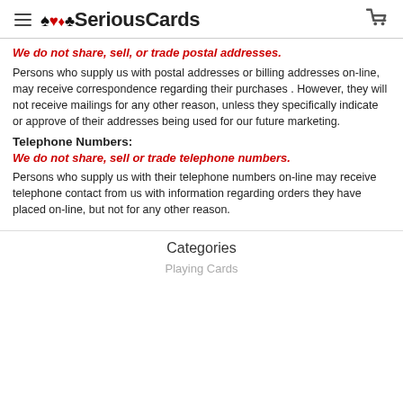SeriousCards
We do not share, sell, or trade postal addresses.
Persons who supply us with postal addresses or billing addresses on-line, may receive correspondence regarding their purchases . However, they will not receive mailings for any other reason, unless they specifically indicate or approve of their addresses being used for our future marketing.
Telephone Numbers:
We do not share, sell or trade telephone numbers.
Persons who supply us with their telephone numbers on-line may receive telephone contact from us with information regarding orders they have placed on-line, but not for any other reason.
Categories
Playing Cards